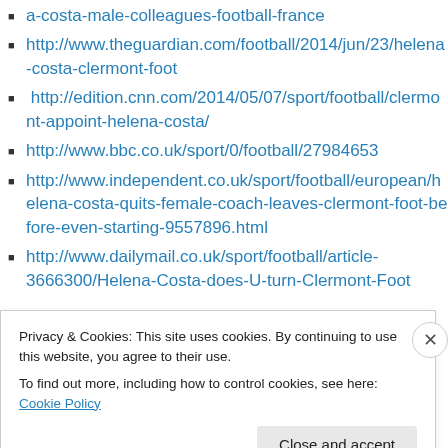a-costa-male-colleagues-football-france
http://www.theguardian.com/football/2014/jun/23/helena-costa-clermont-foot
http://edition.cnn.com/2014/05/07/sport/football/clermont-appoint-helena-costa/
http://www.bbc.co.uk/sport/0/football/27984653
http://www.independent.co.uk/sport/football/european/helena-costa-quits-female-coach-leaves-clermont-foot-before-even-starting-9557896.html
http://www.dailymail.co.uk/sport/football/article-3666300/Helena-Costa-does-U-turn-Clermont-Foot
Privacy & Cookies: This site uses cookies. By continuing to use this website, you agree to their use.
To find out more, including how to control cookies, see here: Cookie Policy